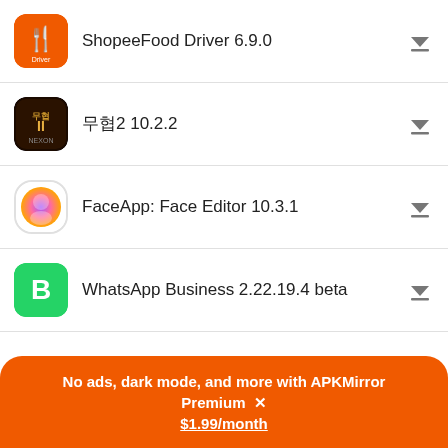ShopeeFood Driver 6.9.0
무협2 10.2.2
FaceApp: Face Editor 10.3.1
WhatsApp Business 2.22.19.4 beta
Upflix: Netflix & Amazon Prime 5.9.3.7 beta
Microsoft Edge Canary 106.0.1360.0
No ads, dark mode, and more with APKMirror Premium ✕ $1.99/month